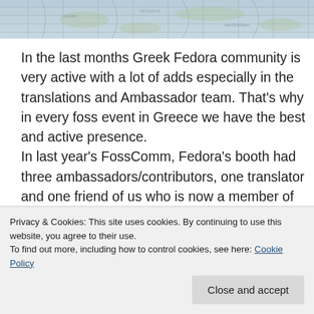[Figure (photo): Aerial or wide-angle photo of a tiled/map floor surface, appears to be a decorative world map on the ground]
In the last months Greek Fedora community is very active with a lot of adds especially in the translations and Ambassador team. That’s why in every foss event in Greece we have the best and active presence.
In last year’s FossComm, Fedora’s booth had three ambassadors/contributors, one translator and one friend of us who is now a member of the
Privacy & Cookies: This site uses cookies. By continuing to use this website, you agree to their use.
To find out more, including how to control cookies, see here: Cookie Policy
helping continuously fedora without being